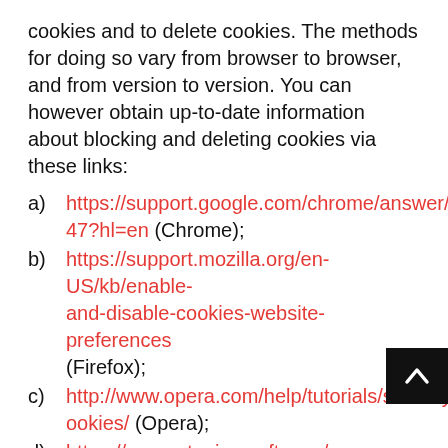cookies and to delete cookies. The methods for doing so vary from browser to browser, and from version to version. You can however obtain up-to-date information about blocking and deleting cookies via these links:
a)  https://support.google.com/chrome/answer/95647?hl=en (Chrome);
b)  https://support.mozilla.org/en-US/kb/enable-and-disable-cookies-website-preferences (Firefox);
c)  http://www.opera.com/help/tutorials/security/cookies/ (Opera);
d)  https://support.microsoft.com/en-gb/help/17442/windows-internet-explorer-delete-manage-cookies (Internet Explorer);
e)  https://support.apple.com/kb/PH21411 (Sa... and